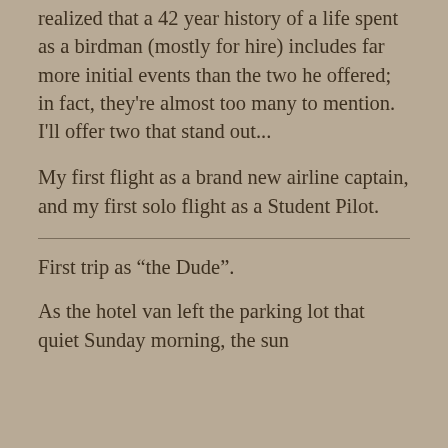realized that a 42 year history of a life spent as a birdman (mostly for hire) includes far more initial events than the two he offered; in fact, they're almost too many to mention. I'll offer two that stand out...
My first flight as a brand new airline captain, and my first solo flight as a Student Pilot.
First trip as “the Dude”.
As the hotel van left the parking lot that quiet Sunday morning, the sun